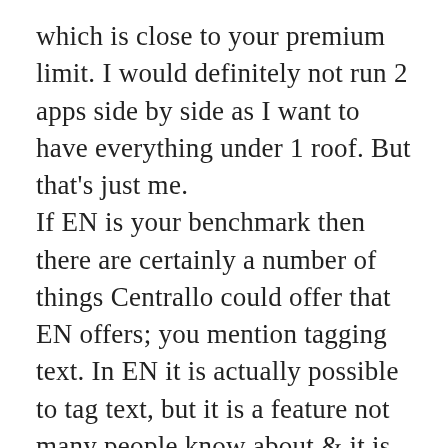which is close to your premium limit. I would definitely not run 2 apps side by side as I want to have everything under 1 roof. But that's just me. If EN is your benchmark then there are certainly a number of things Centrallo could offer that EN offers; you mention tagging text. In EN it is actually possible to tag text, but it is a feature not many people know about & it is not refined enough for some. But there are many others, as you can find out from the various forums there are.